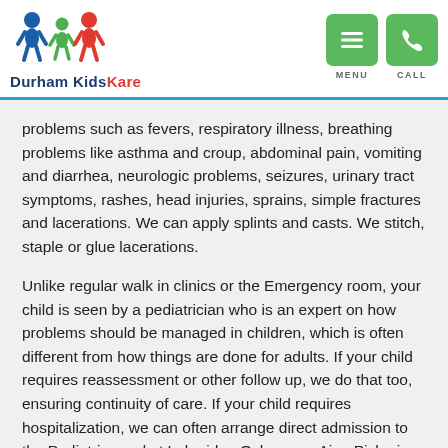Durham KidsKare
problems such as fevers, respiratory illness, breathing problems like asthma and croup, abdominal pain, vomiting and diarrhea, neurologic problems, seizures, urinary tract symptoms, rashes, head injuries, sprains, simple fractures and lacerations. We can apply splints and casts. We stitch, staple or glue lacerations.
Unlike regular walk in clinics or the Emergency room, your child is seen by a pediatrician who is an expert on how problems should be managed in children, which is often different from how things are done for adults. If your child requires reassessment or other follow up, we do that too, ensuring continuity of care. If your child requires hospitalization, we can often arrange direct admission to the Pediatric ward at Lakeridge Oshawa or Ajax-Pickering. We also have ongoing connections with Sick Kids if required.